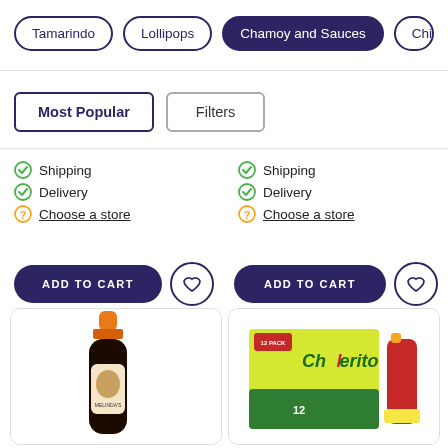Tamarindo
Lollipops
Chamoy and Sauces
Chili Pow...
Most Popular
Filters
Shipping
Delivery
Choose a store
ADD TO CART
Shipping
Delivery
Choose a store
ADD TO CART
[Figure (photo): Bottle of dark sauce with orange cap and label showing a woman figure]
[Figure (photo): Chilerito 12-pack box (green and yellow) with a small bottle of red sauce]